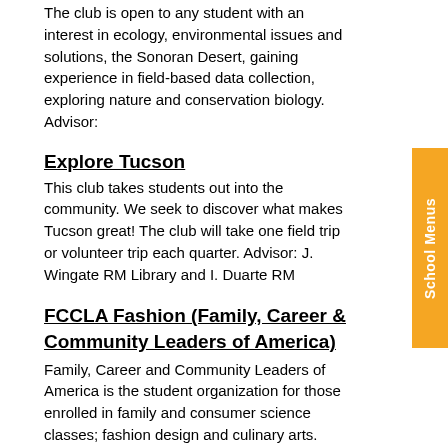The club is open to any student with an interest in ecology, environmental issues and solutions, the Sonoran Desert, gaining experience in field-based data collection, exploring nature and conservation biology. Advisor:
Explore Tucson
This club takes students out into the community. We seek to discover what makes Tucson great! The club will take one field trip or volunteer trip each quarter. Advisor: J. Wingate RM Library and I. Duarte RM
FCCLA Fashion (Family, Career & Community Leaders of America)
Family, Career and Community Leaders of America is the student organization for those enrolled in family and consumer science classes; fashion design and culinary arts. Involvement in FCCLA offers members the opportunity to expand their leadership potential and develop skills for life-planning, goal setting, problem solving, decision making and interpersonal communication-necessary in the home and workplace. Advisor: K. Loyd RM J1